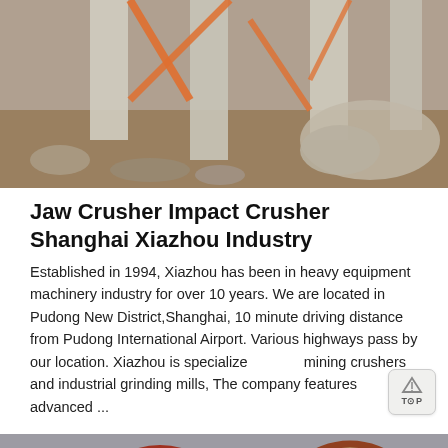[Figure (photo): Construction site photo showing concrete pillars, orange scaffolding, rocks and gravel.]
Jaw Crusher Impact Crusher Shanghai Xiazhou Industry
Established in 1994, Xiazhou has been in heavy equipment machinery industry for over 10 years. We are located in Pudong New District,Shanghai, 10 minute driving distance from Pudong International Airport. Various highways pass by our location. Xiazhou is specialized mining crushers and industrial grinding mills, The company features advanced ...
[Figure (photo): Industrial jaw crusher machinery showing large circular wheel components with holes.]